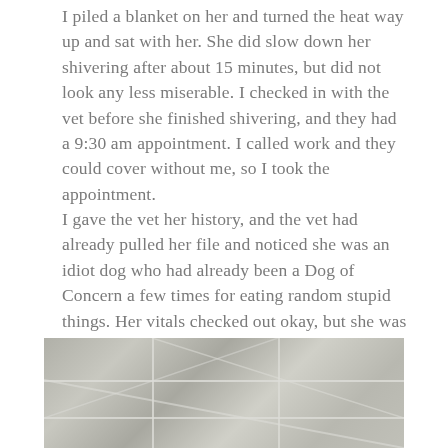I piled a blanket on her and turned the heat way up and sat with her. She did slow down her shivering after about 15 minutes, but did not look any less miserable. I checked in with the vet before she finished shivering, and they had a 9:30 am appointment. I called work and they could cover without me, so I took the appointment.
I gave the vet her history, and the vet had already pulled her file and noticed she was an idiot dog who had already been a Dog of Concern a few times for eating random stupid things. Her vitals checked out okay, but she was clearly too quiet, miserable, and started shivering again on the exam table. The vet thought that the shivering wasn't cold, but pain and anxiety.
[Figure (photo): A photo of tile floor with grout lines visible, partially cropped at the bottom of the page.]